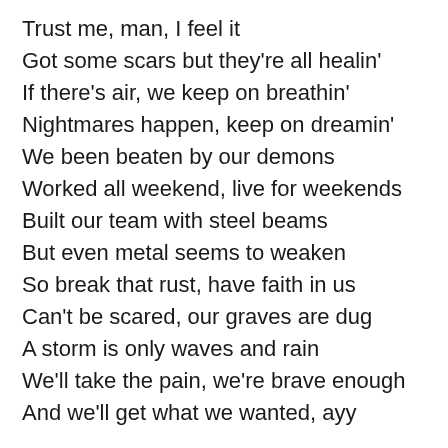Trust me, man, I feel it
Got some scars but they're all healin'
If there's air, we keep on breathin'
Nightmares happen, keep on dreamin'
We been beaten by our demons
Worked all weekend, live for weekends
Built our team with steel beams
But even metal seems to weaken
So break that rust, have faith in us
Can't be scared, our graves are dug
A storm is only waves and rain
We'll take the pain, we're brave enough
And we'll get what we wanted, ayy